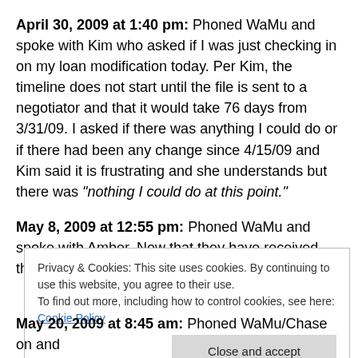April 30, 2009 at 1:40 pm: Phoned WaMu and spoke with Kim who asked if I was just checking in on my loan modification today. Per Kim, the timeline does not start until the file is sent to a negotiator and that it would take 76 days from 3/31/09. I asked if there was anything I could do or if there had been any change since 4/15/09 and Kim said it is frustrating and she understands but there was "nothing I could do at this point."
May 8, 2009 at 12:55 pm: Phoned WaMu and spoke with Amber. Now that they have received the "missing"
Privacy & Cookies: This site uses cookies. By continuing to use this website, you agree to their use. To find out more, including how to control cookies, see here: Cookie Policy
May 20, 2009 at 8:45 am: Phoned WaMu/Chase on and